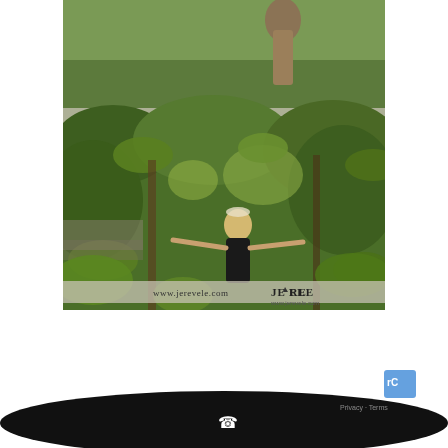[Figure (photo): Two stacked photographs watermarked with www.jerevele.com and JE REVELE branding. Top photo shows a figure in a long brown/tan dress standing on a green lawn. Bottom photo shows a blonde woman in a black dress with arms outstretched among lush green foliage/trees, with the same www.jerevele.com and JE REVELE watermarks.]
[Figure (other): Dark oval/elliptical shape at bottom of page (likely a UI element or button) with a white phone/call icon in the center. A small blue reCAPTCHA icon and 'Privacy - Terms' text appear in the bottom right corner.]